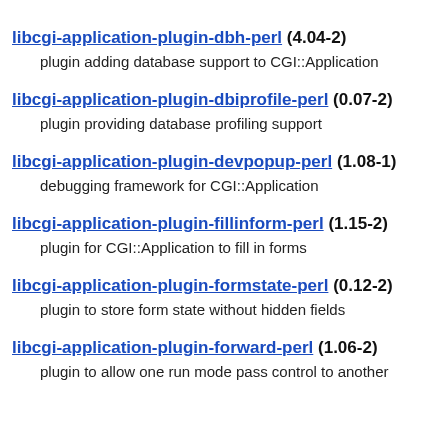libcgi-application-plugin-dbh-perl (4.04-2)
    plugin adding database support to CGI::Application
libcgi-application-plugin-dbiprofile-perl (0.07-2)
    plugin providing database profiling support
libcgi-application-plugin-devpopup-perl (1.08-1)
    debugging framework for CGI::Application
libcgi-application-plugin-fillinform-perl (1.15-2)
    plugin for CGI::Application to fill in forms
libcgi-application-plugin-formstate-perl (0.12-2)
    plugin to store form state without hidden fields
libcgi-application-plugin-forward-perl (1.06-2)
    plugin to allow one run mode pass control to another